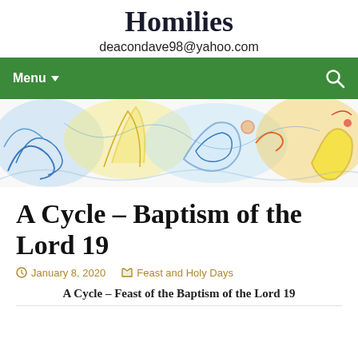Homilies
deacondave98@yahoo.com
[Figure (screenshot): Green navigation bar with Menu dropdown and search icon]
[Figure (illustration): Colorful hand-drawn banner illustration with flowers and abstract shapes in blue, yellow, orange, and green]
A Cycle – Baptism of the Lord 19
January 8, 2020   Feast and Holy Days
A Cycle – Feast of the Baptism of the Lord 19